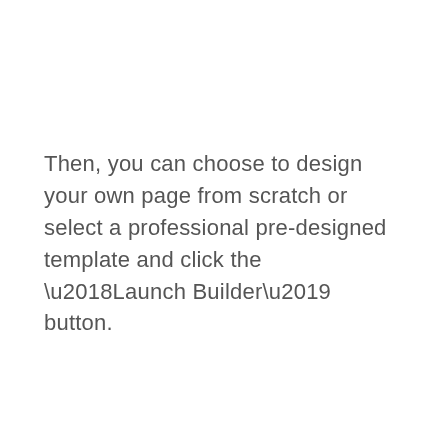Then, you can choose to design your own page from scratch or select a professional pre-designed template and click the ‘Launch Builder’ button.